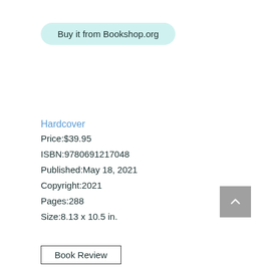Buy it from Bookshop.org
Hardcover
Price:$39.95
ISBN:9780691217048
Published:May 18, 2021
Copyright:2021
Pages:288
Size:8.13 x 10.5 in.
Book Review